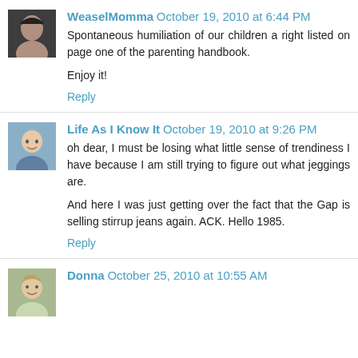WeaselMomma October 19, 2010 at 6:44 PM
Spontaneous humiliation of our children a right listed on page one of the parenting handbook.

Enjoy it!
Reply
Life As I Know It October 19, 2010 at 9:26 PM
oh dear, I must be losing what little sense of trendiness I have because I am still trying to figure out what jeggings are.

And here I was just getting over the fact that the Gap is selling stirrup jeans again. ACK. Hello 1985.
Reply
Donna October 25, 2010 at 10:55 AM